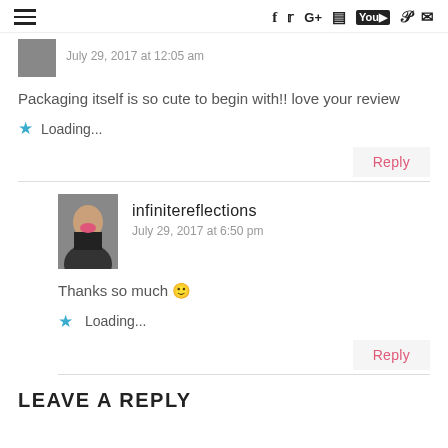Social media navigation bar with hamburger menu and icons: f, twitter, G+, instagram, youtube, pinterest, mail
July 29, 2017 at 12:05 am
Packaging itself is so cute to begin with!! love your review
Loading...
Reply
infinitereflections
July 29, 2017 at 6:50 pm
Thanks so much 🙂
Loading...
Reply
LEAVE A REPLY